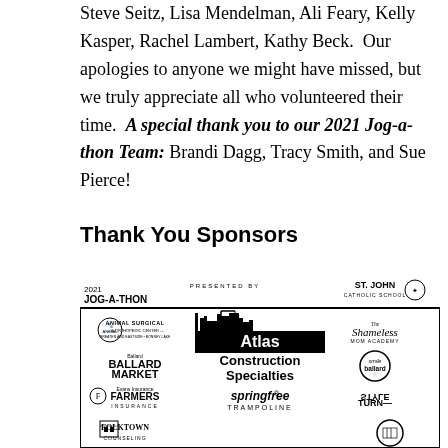Steve Seitz, Lisa Mendelman, Ali Feary, Kelly Kasper, Rachel Lambert, Kathy Beck. Our apologies to anyone we might have missed, but we truly appreciate all who volunteered their time. A special thank you to our 2021 Jog-a-thon Team: Brandi Dagg, Tracy Smith, and Sue Pierce!
Thank You Sponsors
[Figure (logo): 2021 Jog-a-Thon sponsor collage presented by Atlas Construction Specialties. Includes logos for Animal Surgical & Orthopedic Center, Ballard Market, Evans Insurance Farmers Insurance, Folktown Counseling, Springfree Trampoline, The Shameless Mom Academy, Smile Ballard, Turn Style, and St. John Catholic School.]